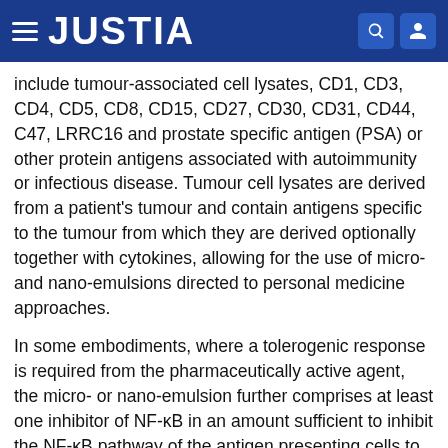JUSTIA
include tumour-associated cell lysates, CD1, CD3, CD4, CD5, CD8, CD15, CD27, CD30, CD31, CD44, C47, LRRC16 and prostate specific antigen (PSA) or other protein antigens associated with autoimmunity or infectious disease. Tumour cell lysates are derived from a patient's tumour and contain antigens specific to the tumour from which they are derived optionally together with cytokines, allowing for the use of micro- and nano-emulsions directed to personal medicine approaches.
In some embodiments, where a tolerogenic response is required from the pharmaceutically active agent, the micro- or nano-emulsion further comprises at least one inhibitor of NF-κB in an amount sufficient to inhibit the NF-κB pathway of the antigen presenting cells to which the antigen is being delivered. Suitable NF-κB inhibitors include antioxidants, proteosome and protease